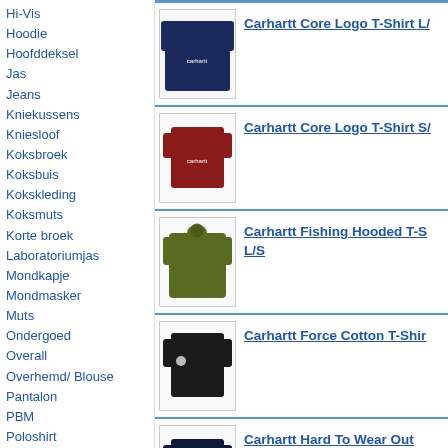Hi-Vis
Hoodie
Hoofddeksel
Jas
Jeans
Kniekussens
Kniesloof
Koksbroek
Koksbuis
Kokskleding
Koksmuts
Korte broek
Laboratoriumjas
Mondkapje
Mondmasker
Muts
Ondergoed
Overall
Overhemd/ Blouse
Pantalon
PBM
Poloshirt
Polosweater
Rok
RWS
Schoenen
Sloof
Sokken
Stofjas
Stofmasker
Sweater
Trui
Carhartt Core Logo T-Shirt L/S
Carhartt Core Logo T-Shirt S/S
Carhartt Fishing Hooded T-Shirt L/S
Carhartt Force Cotton T-Shirt L/S
Carhartt Hard To Wear Out Graphic T-Shirt S/S